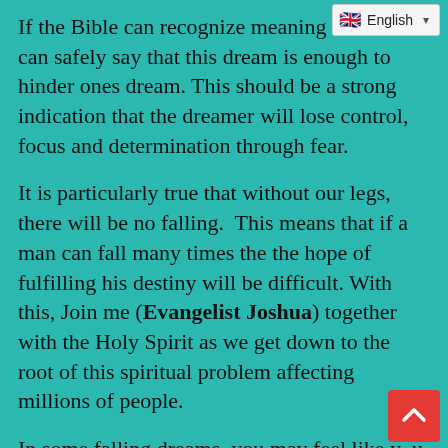If the Bible can recognize meaning then we can safely say that this dream is enough to hinder ones dream. This should be a strong indication that the dreamer will lose control, focus and determination through fear.
It is particularly true that without our legs, there will be no falling.  This means that if a man can fall many times the the hope of fulfilling his destiny will be difficult. With this, Join me (Evangelist Joshua) together with the Holy Spirit as we get down to the root of this spiritual problem affecting millions of people.
In some falling dreams, you may feel like you are starting to lose your relevance. This can be